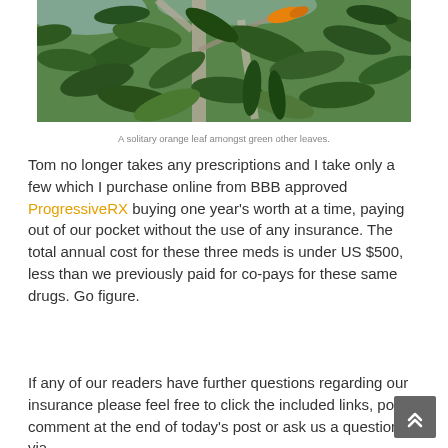[Figure (photo): Close-up photograph of green leaves on a tree with one orange leaf visible among the green ones.]
A solitary orange leaf amongst green other leaves.
Tom no longer takes any prescriptions and I take only a few which I purchase online from BBB approved ProgressiveRX buying one year's worth at a time, paying out of our pocket without the use of any insurance. The total annual cost for these three meds is under US $500, less than we previously paid for co-pays for these same drugs. Go figure.
If any of our readers have further questions regarding our insurance please feel free to click the included links, post a comment at the end of today's post or ask us a question via